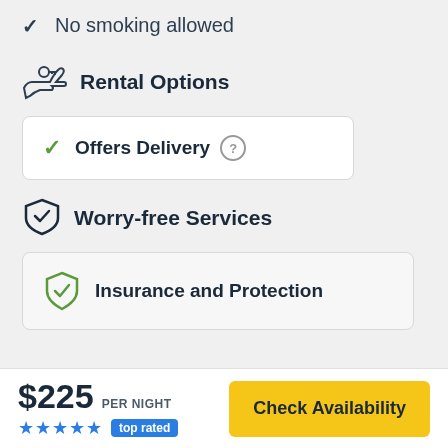No smoking allowed
Rental Options
Offers Delivery
Worry-free Services
Insurance and Protection
$225 PER NIGHT  ★★★★★ top rated  Check Availability